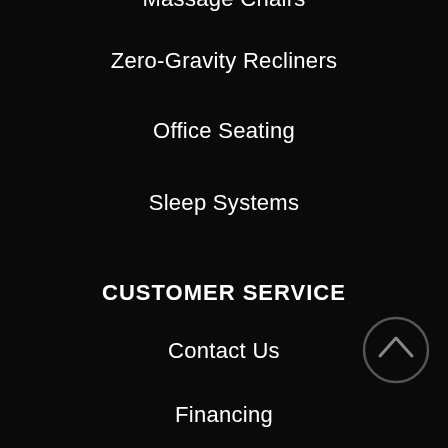Massage Chairs
Zero-Gravity Recliners
Office Seating
Sleep Systems
CUSTOMER SERVICE
Contact Us
Financing
Learning Center
COMPANY
Media & News
About Us
Locations